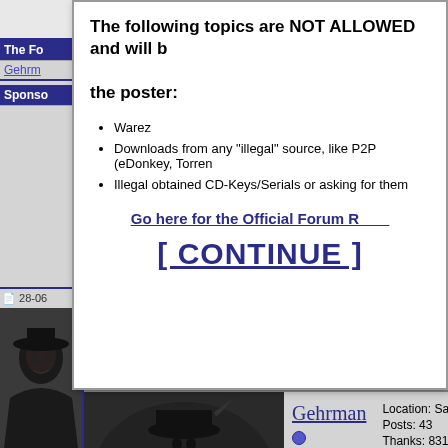[Figure (screenshot): Forum sidebar with The Forum label, Gehrman link, Sponsors section, date 28-06]
The following topics are NOT ALLOWED and will be removed, and action will be taken against the poster:
Warez
Downloads from any "illegal" source, like P2P (eDonkey, Torrent, etc.)
Illegal obtained CD-Keys/Serials or asking for them
Go here for the Official Forum Rules
[ CONTINUE ]
[Figure (photo): Dark fantasy warrior avatar image - Gehrman character]
Gehrman
Registered User
Location: Save Palestine
Posts: 43
Thanks: 831
Thanked 50 Times in 22 Posts
Hi elit
Thanks, this tool works well.
The KEYS.dat file for this tool?
[Figure (screenshot): Quote button]